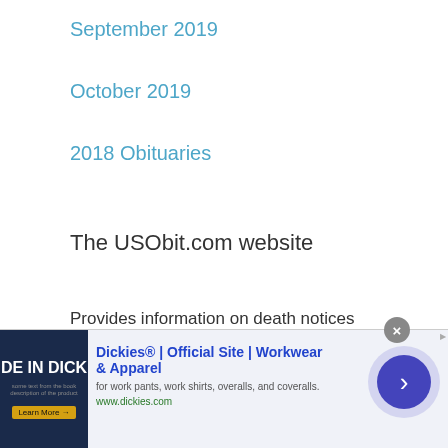September 2019
October 2019
2018 Obituaries
The USObit.com website
Provides information on death notices published in United State by various funeral homes.
USObit.com a search engine specialized in obituary, daily updates the publication of notices of death, allowing increased visibility to an additional gateway to pay a final homage to the deceased or at
[Figure (screenshot): Advertisement banner for Dickies Official Site - Workwear and Apparel. Shows 'DE IN DICK' text on dark blue background image, with ad title, description 'for work pants, work shirts, overalls, and coveralls.', URL www.dickies.com, and a blue circular arrow button.]